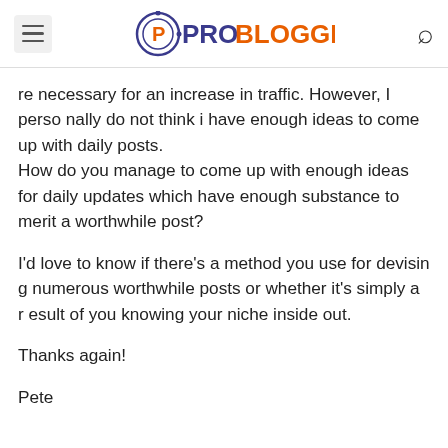ProBlogger
re necessary for an increase in traffic. However, I personally do not think i have enough ideas to come up with daily posts.
How do you manage to come up with enough ideas for daily updates which have enough substance to merit a worthwhile post?

I'd love to know if there's a method you use for devising numerous worthwhile posts or whether it's simply a result of you knowing your niche inside out.

Thanks again!

Pete